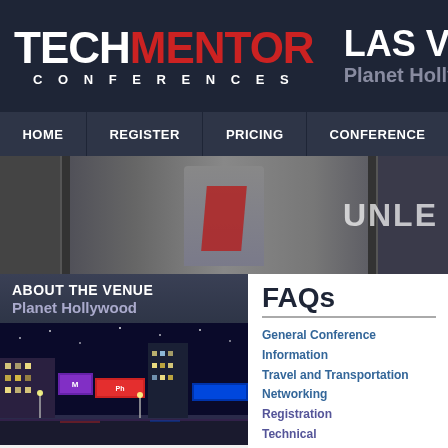[Figure (logo): TechMentor Conferences logo with TECH in white and MENTOR in red, CONFERENCES in white spaced letters below]
LAS VEGAS
Planet Hollywood
HOME
REGISTER
PRICING
CONFERENCE
[Figure (photo): Man in business attire with red superhero cape standing in office cubicle environment, text UNLE visible on right side]
ABOUT THE VENUE
Planet Hollywood
[Figure (photo): Las Vegas Strip at night showing Planet Hollywood and surrounding hotels with colorful lights]
FAQs
General Conference Information
Travel and Transportation
Networking
Registration
Technical
General Conference Info